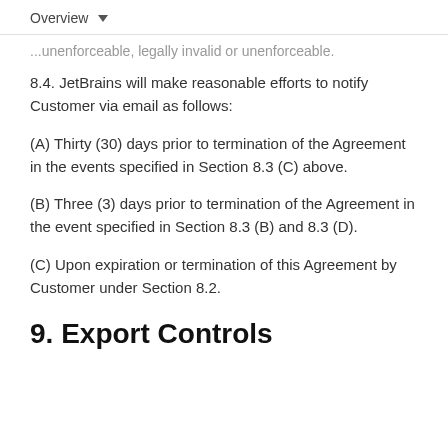Overview
...unenforceable, legally invalid or unenforceable.
8.4. JetBrains will make reasonable efforts to notify Customer via email as follows:
(A) Thirty (30) days prior to termination of the Agreement in the events specified in Section 8.3 (C) above.
(B) Three (3) days prior to termination of the Agreement in the event specified in Section 8.3 (B) and 8.3 (D).
(C) Upon expiration or termination of this Agreement by Customer under Section 8.2.
9. Export Controls